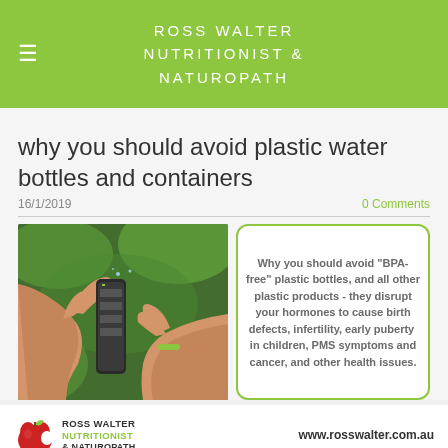ROSS WALTER NUTRITIONIST & NATUROPATH
why you should avoid plastic water bottles and containers
16/1/2019
0 Comments
[Figure (photo): Two hands passing a plastic water bottle outdoors with green foliage background]
Why you should avoid "BPA-free" plastic bottles, and all other plastic products - they disrupt your hormones to cause birth defects, infertility, early puberty in children, PMS symptoms and cancer, and other health issues.
[Figure (logo): Ross Walter Nutritionist & Naturopath logo with red apple graphic and text, plus website URL www.rosswalter.com.au]